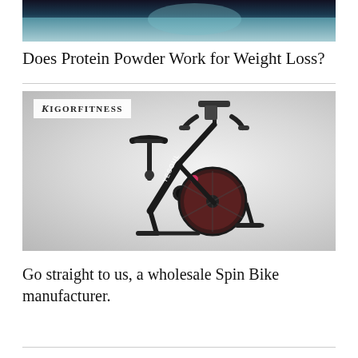[Figure (photo): Partial top image of a person in teal/blue clothing, cropped at the top of the page]
Does Protein Powder Work for Weight Loss?
[Figure (photo): Yesoul brand spin bike (exercise/indoor cycling bike) on a light grey background, with RIGORFITNESS watermark logo in the top left corner]
Go straight to us, a wholesale Spin Bike manufacturer.